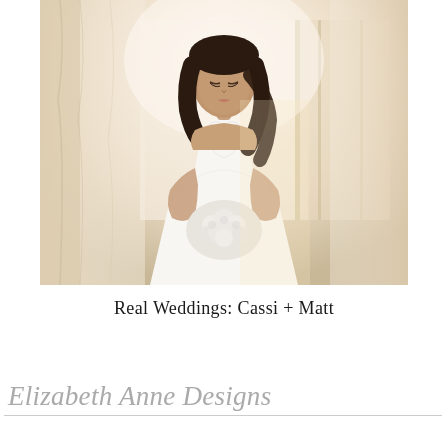[Figure (photo): A bride in a white strapless sweetheart-neckline wedding gown holding a bouquet of white roses, standing in a bright room with curtains and a door in the background, looking down.]
Real Weddings: Cassi + Matt
Elizabeth Anne Designs